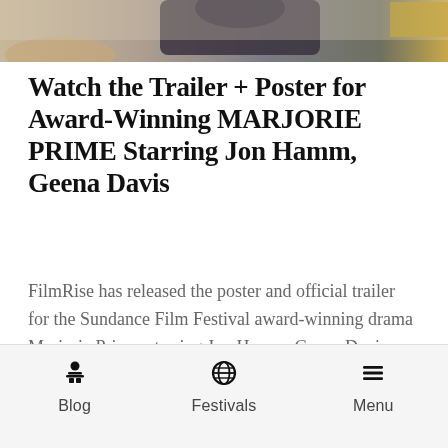[Figure (photo): Top portion of a photo showing a person sitting indoors, cropped to show only the upper portion.]
Watch the Trailer + Poster for Award-Winning MARJORIE PRIME Starring Jon Hamm, Geena Davis
FilmRise has released the poster and official trailer for the Sundance Film Festival award-winning drama Marjorie Prime, starring Jon Hamm, Geena Davis, Tim Robbins and Lois Smith.
[Figure (photo): Bottom portion of a dark-toned movie still or poster image, showing silhouettes against a night sky.]
Blog  Festivals  Menu